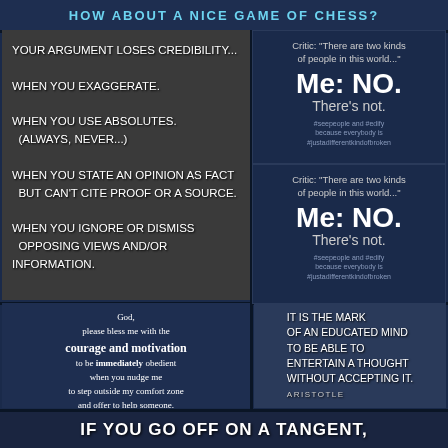HOW ABOUT A NICE GAME OF CHESS?
[Figure (infographic): Dark gray textured background panel with white handwritten-style text listing reasons an argument loses credibility: exaggeration, absolutes (always, never), stating opinion as fact without proof, ignoring opposing views.]
[Figure (infographic): Dark navy panel showing Critic quote 'There are two kinds of people in this world...' and response 'Me: NO. There's not.' with hashtag text about seepeople, edify, justadifferentkindofbroken]
[Figure (infographic): Dark navy panel showing repeated Critic quote 'There are two kinds of people in this world...' and response 'Me: NO. There's not.' with hashtag text]
[Figure (infographic): Navy blue panel with prayer text: 'God, please bless me with the courage and motivation to be immediately obedient when you nudge me to step outside my comfort zone and offer to help someone.' with hashtags seepeople, edify, justadifferentkindofbroken]
[Figure (infographic): Dark blue textured panel with handwritten-style text: 'IT IS THE MARK OF AN EDUCATED MIND TO BE ABLE TO ENTERTAIN A THOUGHT WITHOUT ACCEPTING IT.' attributed to ARISTOTLE]
[Figure (infographic): Dark blue rainy textured background with large handwritten text: 'IF YOU GO OFF ON A TANGENT,']